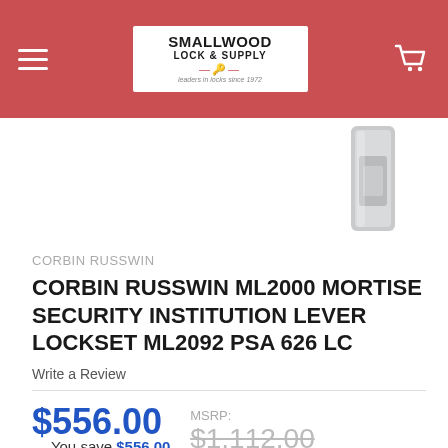[Figure (logo): Smallwood Lock & Supply logo in white box with red header bar, hamburger menu icon on left, shopping cart icon on right]
[Figure (photo): Partial product image of a door lockset visible in upper right corner, light grey metallic finish]
CORBIN RUSSWIN
CORBIN RUSSWIN ML2000 MORTISE SECURITY INSTITUTION LEVER LOCKSET ML2092 PSA 626 LC
Write a Review
$556.00
MSRP: $1,112.00
— You save $556.00
QUANTITY